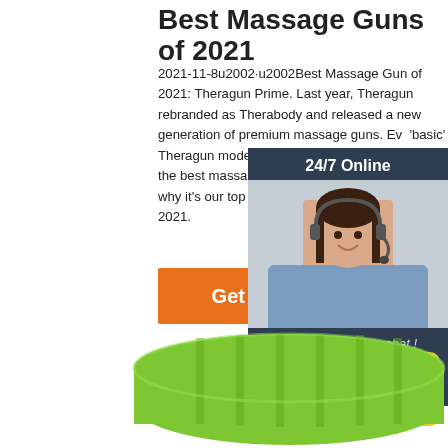Best Massage Guns of 2021
2021-11-8u2002·u2002Best Massage Gun of 2021: Theragun Prime. Last year, Theragun rebranded as Therabody and released a new generation of premium massage guns. Even the 'basic' Theragun model, the Therabody Prime, outclasses the best massage guns from competitors. That's why it's our top pick among the best massage guns of 2021.
[Figure (infographic): Orange 'Get Price' button]
[Figure (infographic): 24/7 Online chat widget with a woman wearing a headset, dark navy background, 'Click here for free chat!' text, and orange QUOTATION button]
[Figure (infographic): Yellow 'Top' button in bottom right]
[Figure (photo): Green foam roller at the bottom of the page]